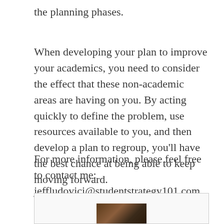the planning phases.
When developing your plan to improve your academics, you need to consider the effect that these non-academic areas are having on you. By acting quickly to define the problem, use resources available to you, and then develop a plan to regroup, you'll have the best chance at being able to keep moving forward.
For more information, please feel free to contact me: jeffludovici@studentstrategy101.com, or visit studentstrategy101.com
[Figure (photo): Partial view of a photo at the bottom of the page, showing what appears to be a person or portrait image, cropped.]